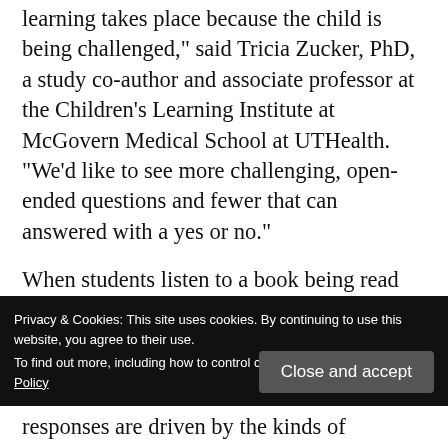learning takes place because the child is being challenged," said Tricia Zucker, PhD, a study co-author and associate professor at the Children's Learning Institute at McGovern Medical School at UTHealth. "We'd like to see more challenging, open-ended questions and fewer that can answered with a yes or no."
When students listen to a book being read to them, they pick up new words, learn the basics of grammar and build knowledge. Teachers can enhance the learning experience by asking more complex questions that offer students chall...
Privacy & Cookies: This site uses cookies. By continuing to use this website, you agree to their use. To find out more, including how to control cookies, see here: Cookie Policy
Close and accept
responses are driven by the kinds of